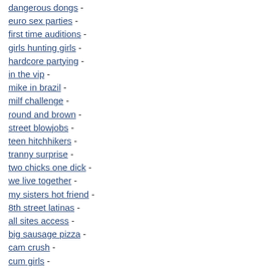dangerous dongs -
euro sex parties -
first time auditions -
girls hunting girls -
hardcore partying -
in the vip -
mike in brazil -
milf challenge -
round and brown -
street blowjobs -
teen hitchhikers -
tranny surprise -
two chicks one dick -
we live together -
my sisters hot friend -
8th street latinas -
all sites access -
big sausage pizza -
cam crush -
cum girls -
dangerous dongs -
euro sex parties -
first time auditions -